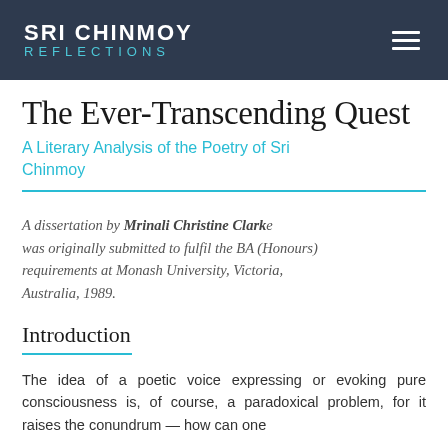SRI CHINMOY REFLECTIONS
The Ever-Transcending Quest
A Literary Analysis of the Poetry of Sri Chinmoy
A dissertation by Mrinali Christine Clarke was originally submitted to fulfil the BA (Honours) requirements at Monash University, Victoria, Australia, 1989.
Introduction
The idea of a poetic voice expressing or evoking pure consciousness is, of course, a paradoxical problem, for it raises the conundrum — how can one